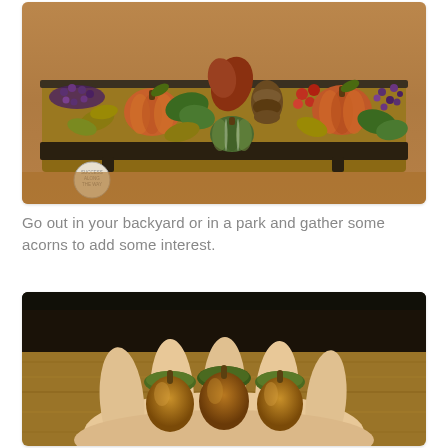[Figure (photo): A fall/autumn centerpiece arrangement in a wooden tray containing miniature pumpkins (orange and green), pine cones, autumn leaves (red, yellow, green), purple berry branches, and red berries, displayed on a wooden surface. A small circular tag is visible in the lower left corner.]
Go out in your backyard or in a park and gather some acorns to add some interest.
[Figure (photo): A hand holding three brown acorns with green caps against a blurred background showing a wooden surface.]